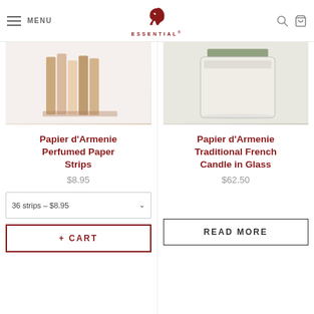MENU | ESSENTIAL (logo) | search | cart
[Figure (photo): Product image of Papier d'Armenie Perfumed Paper Strips showing paper strip booklet on white background]
Papier d’Armenie Perfumed Paper Strips
$8.95
36 strips – $8.95
+ CART
[Figure (photo): Product image of Papier d'Armenie Traditional French Candle in Glass showing a glass jar candle on light background]
Papier d’Armenie Traditional French Candle in Glass
$62.50
READ MORE